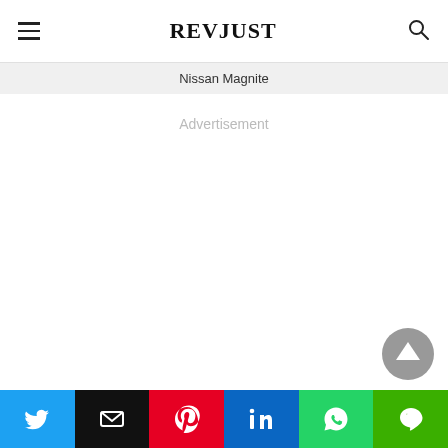REVJUST
Nissan Magnite
Advertisement
[Figure (other): Scroll to top button — circular grey arrow-up icon]
[Figure (other): Social share bar with Twitter, Email, Pinterest, LinkedIn, WhatsApp, Line buttons]